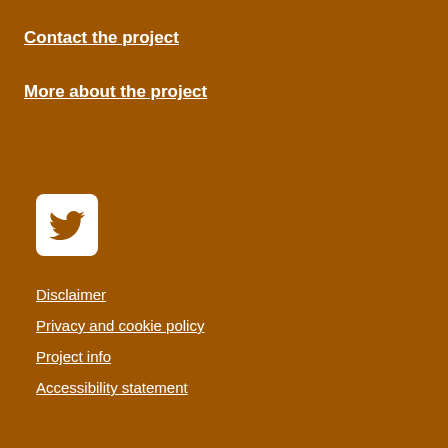Contact the project
More about the project
[Figure (logo): Twitter bird logo icon in white on a white rounded square background]
Disclaimer
Privacy and cookie policy
Project info
Accessibility statement